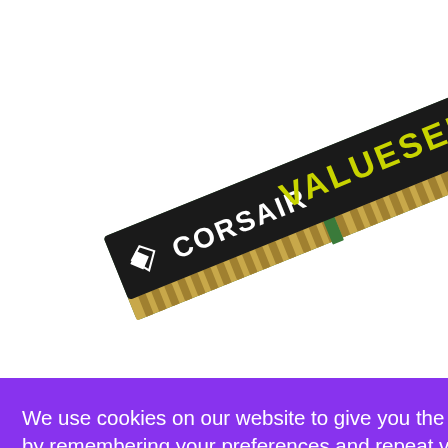[Figure (photo): Corsair ValueSelect RAM memory module (DDR4 DIMM), shown at an angle. The PCB is green, the label is black with white CORSAIR branding and yellow VALUESELECT text.]
We use cookies on our website to give you the most relevant experience by remembering your preferences and repeat visits. By clicking "Accept All", you consent to the use of ALL the cookies. However, you may visit "Cookie Settings" to provide a controlled consent.
Cookie Settings
Accept All
ALUE
or